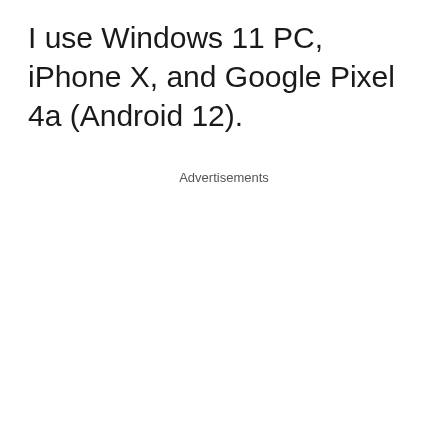I use Windows 11 PC, iPhone X, and Google Pixel 4a (Android 12).
Advertisements